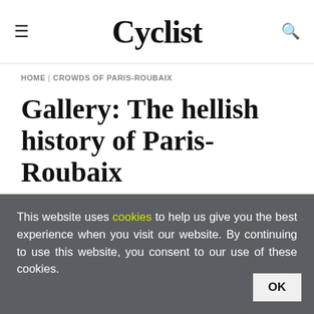Cyclist
HOME | CROWDS OF PARIS-ROUBAIX
Gallery: The hellish history of Paris-Roubaix
[Figure (photo): Partial photo showing cobblestone road or cycling imagery with muted teal/grey background]
This website uses cookies to help us give you the best experience when you visit our website. By continuing to use this website, you consent to our use of these cookies.